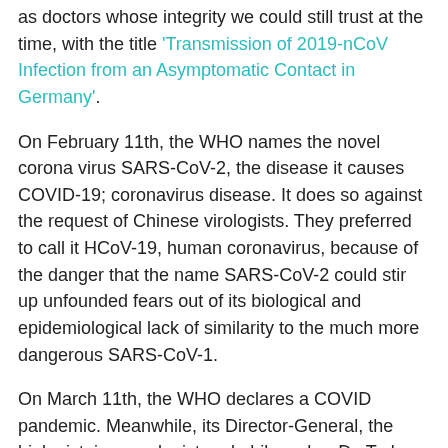as doctors whose integrity we could still trust at the time, with the title 'Transmission of 2019-nCoV Infection from an Asymptomatic Contact in Germany'.
On February 11th, the WHO names the novel corona virus SARS-CoV-2, the disease it causes COVID-19; coronavirus disease. It does so against the request of Chinese virologists. They preferred to call it HCoV-19, human coronavirus, because of the danger that the name SARS-CoV-2 could stir up unfounded fears out of its biological and epidemiological lack of similarity to the much more dangerous SARS-CoV-1.
On March 11th, the WHO declares a COVID pandemic. Meanwhile, its Director-General, the biologist, immunologist and philosopher Dr. Tedros Adhanom Ghebreyesus, has been charged with